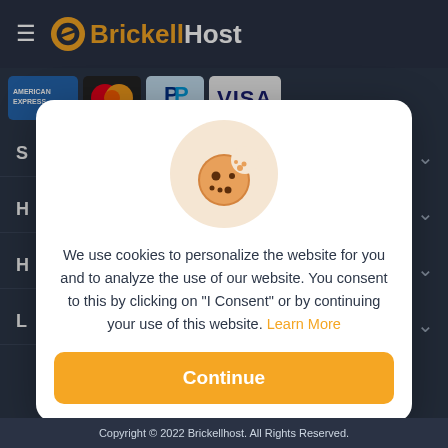BricketlHost
[Figure (screenshot): Cookie consent modal overlay on BrickellHost website. Modal contains a cookie emoji illustration, consent text, and a Continue button. Background shows payment icons (American Express, Mastercard, PayPal, Visa) and navigation menu items with chevrons.]
We use cookies to personalize the website for you and to analyze the use of our website. You consent to this by clicking on "I Consent" or by continuing your use of this website. Learn More
Copyright © 2022 Brickellhost. All Rights Reserved.